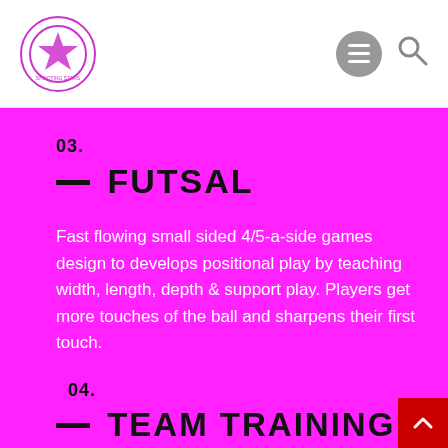Navigation header with logo and menu/search icons
03. — FUTSAL
Fast flowing small sided 4/5-a-side games design to develops positional play by teaching width, length, depth & support play. Players get more touches of the ball and sharpens their first touch.
04. — TEAM TRAINING
Fun 4s, Super 5s, Soccer